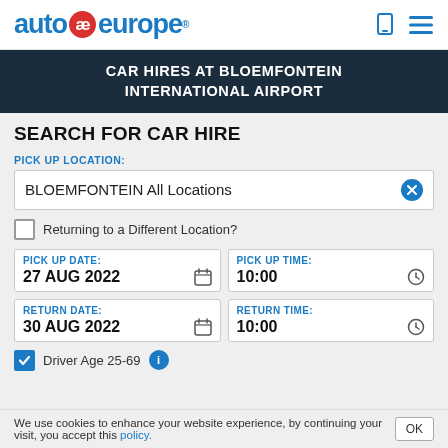auto ae europe.
CAR HIRES AT BLOEMFONTEIN INTERNATIONAL AIRPORT
SEARCH FOR CAR HIRE
PICK UP LOCATION:
BLOEMFONTEIN All Locations
Returning to a Different Location?
PICK UP DATE: 27 AUG 2022
PICK UP TIME: 10:00
RETURN DATE: 30 AUG 2022
RETURN TIME: 10:00
Driver Age 25-69
We use cookies to enhance your website experience, by continuing your visit, you accept this policy.